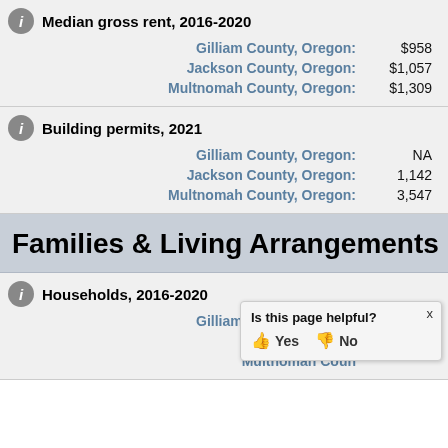Median gross rent, 2016-2020
Gilliam County, Oregon: $958
Jackson County, Oregon: $1,057
Multnomah County, Oregon: $1,309
Building permits, 2021
Gilliam County, Oregon: NA
Jackson County, Oregon: 1,142
Multnomah County, Oregon: 3,547
Families & Living Arrangements
Households, 2016-2020
Gilliam County, Oregon: 905
Jackson County, Oregon: (partially obscured)
Multnomah County, Oregon: (partially obscured)